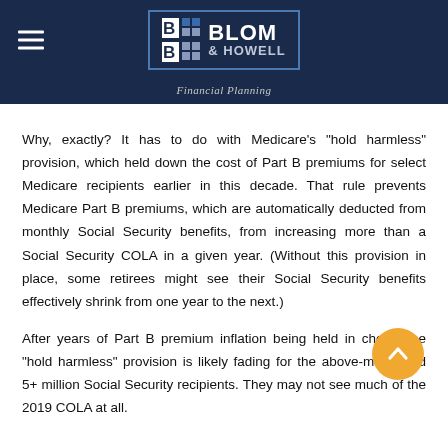Blom & Howell Financial Planning
Why, exactly? It has to do with Medicare's "hold harmless" provision, which held down the cost of Part B premiums for select Medicare recipients earlier in this decade. That rule prevents Medicare Part B premiums, which are automatically deducted from monthly Social Security benefits, from increasing more than a Social Security COLA in a given year. (Without this provision in place, some retirees might see their Social Security benefits effectively shrink from one year to the next.)
After years of Part B premium inflation being held in check, the "hold harmless" provision is likely fading for the above-mentioned 5+ million Social Security recipients. They may not see much of the 2019 COLA at all.